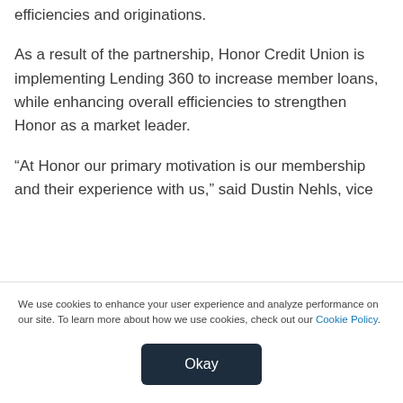efficiencies and originations.
As a result of the partnership, Honor Credit Union is implementing Lending 360 to increase member loans, while enhancing overall efficiencies to strengthen Honor as a market leader.
“At Honor our primary motivation is our membership and their experience with us,” said Dustin Nehls, vice president of consumer lending for Honor Credit Union...
We use cookies to enhance your user experience and analyze performance on our site. To learn more about how we use cookies, check out our Cookie Policy.